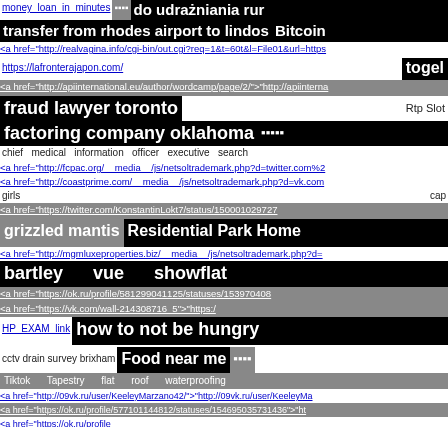money loan in minutes 🔲🔲🔲🔲 do udrażniania rur
transfer from rhodes airport to lindos   Bitcoin
<a href="http://realvagina.info/cgi-bin/out.cgi?req=1&t=60t&l=File01&url=https
https://lafronterajapon.com/   togel
<a href="http://apiinternational.eu/author/wordcamp/page/2/">"http://apiinterna
fraud lawyer toronto   Rtp   Slot
factoring company oklahoma  🔲🔲🔲🔲🔲
chief medical information officer executive search
<a href="http://fcpac.org/__media__/js/netsoltrademark.php?d=twitter.com%2
<a href="http://coastprime.com/__media__/js/netsoltrademark.php?d=vk.com
girls   cap
<a href="https://twitter.com/KonstantinLokt7/status/150001029727
grizzled mantis   Residential Park Home
<a href="http://mgmluxeproperties.biz/__media__/js/netsoltrademark.php?d=
bartley   vue   showflat
<a href="https://ok.ru/profile/581299041125/statuses/153970408
<a href="https://vk.com/wall-214308716_5">"https:/
HP EXAM link   how to not be hungry
cctv drain survey brixham   Food near me  🔲🔲🔲🔲
Tiktok   Tapestry   flat   roof   waterproofing
<a href="http://09vk.ru/user/KeeleyMarzano42/">"http://09vk.ru/user/KeeleyMa
<a href="https://ok.ru/profile/577101144812/statuses/154695035731436">"ht